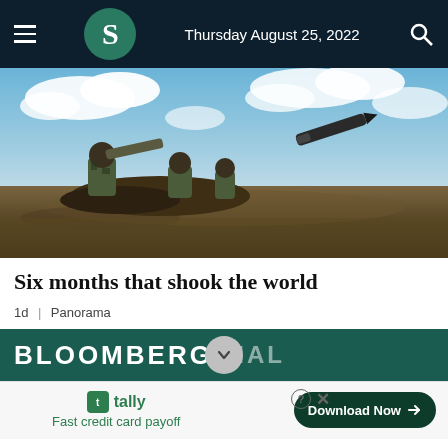Thursday August 25, 2022
[Figure (photo): Soldiers in camouflage in a field firing a shoulder-launched missile, with a missile visible in flight against a cloudy blue sky.]
Six months that shook the world
1d | Panorama
[Figure (screenshot): Bloomberg Special advertisement banner with dark teal background and a gray chevron/down arrow overlay.]
[Figure (screenshot): Bottom advertisement bar: Tally app ad with green logo, text 'Fast credit card payoff', and a 'Download Now' button.]